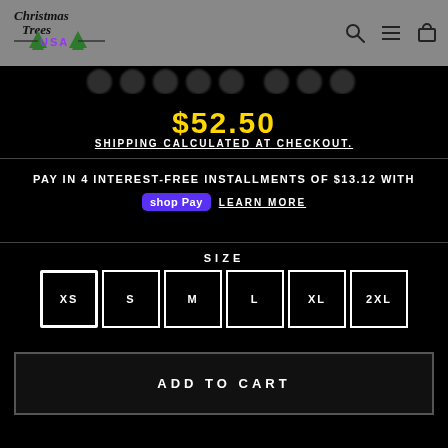Christmas Trees USA
$52.50
Shipping calculated at checkout.
Pay in 4 interest-free installments of $13.12 with shop Pay Learn more
SIZE
XS
S
M
L
XL
2XL
ADD TO CART